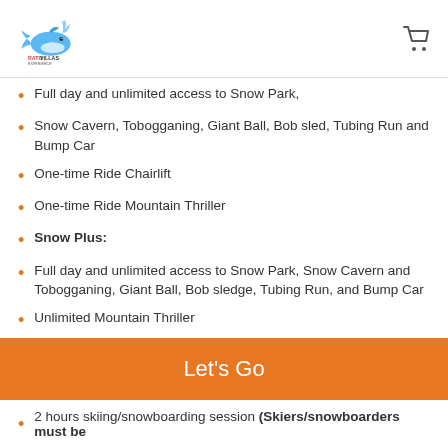Ratu Villas logo and cart icon
Full day and unlimited access to Snow Park,
Snow Cavern, Tobogganing, Giant Ball, Bob sled, Tubing Run and Bump Car
One-time Ride Chairlift
One-time Ride Mountain Thriller
Snow Plus:
Full day and unlimited access to Snow Park, Snow Cavern and Tobogganing, Giant Ball, Bob sledge, Tubing Run, and Bump Car
Unlimited Mountain Thriller
Unlimited ride of the chairlift
Locker provided
Select one experience:
2 hours on the slope ( skiers/snowboarders must be intermediate level 2 to access the slope ) OR
2 hours skiing/snowboarding session (Skiers/snowboarders must be